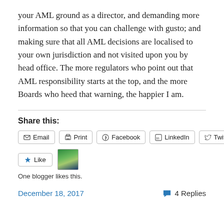your AML ground as a director, and demanding more information so that you can challenge with gusto; and making sure that all AML decisions are localised to your own jurisdiction and not visited upon you by head office. The more regulators who point out that AML responsibility starts at the top, and the more Boards who heed that warning, the happier I am.
Share this:
Email | Print | Facebook | LinkedIn | Twitter
Like | [avatar image]
One blogger likes this.
December 18, 2017    4 Replies